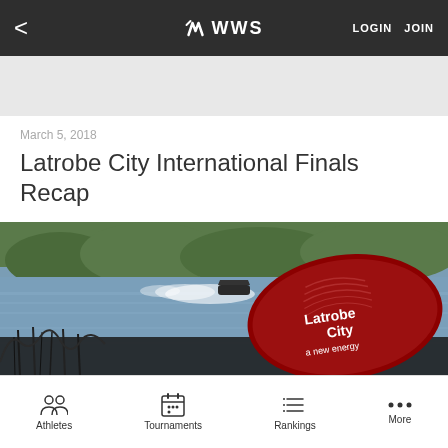< WWS LOGIN JOIN
March 5, 2018
Latrobe City International Finals Recap
[Figure (photo): Outdoor water ski event on a lake with a boat creating a wake. In the foreground is a large red oval banner/sign with the Latrobe City logo and text 'Latrobe City a new energy'. Trees and vegetation visible in background.]
Athletes  Tournaments  Rankings  More